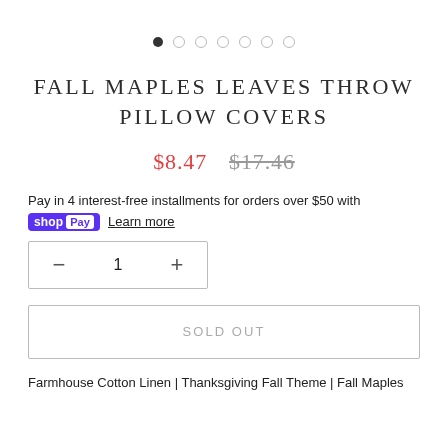[Figure (other): Image carousel dot navigation: 7 dots, first filled/dark, rest empty circles]
FALL MAPLES LEAVES THROW PILLOW COVERS
$8.47  $17.46
Pay in 4 interest-free installments for orders over $50 with
shopPay Learn more
— 1 +
SOLD OUT
Farmhouse Cotton Linen | Thanksgiving Fall Theme | Fall Maples